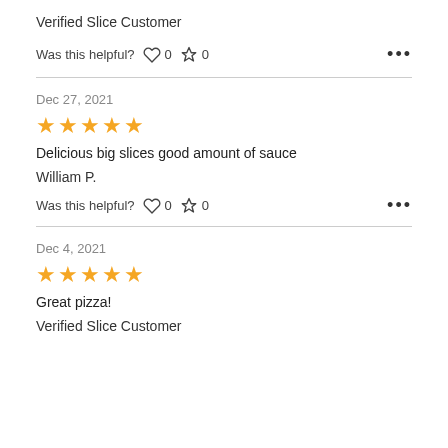Verified Slice Customer
Was this helpful? ♡ 0  △ 0  •••
Dec 27, 2021
[Figure (other): 5 gold stars rating]
Delicious big slices good amount of sauce
William P.
Was this helpful? ♡ 0  △ 0  •••
Dec 4, 2021
[Figure (other): 5 gold stars rating]
Great pizza!
Verified Slice Customer